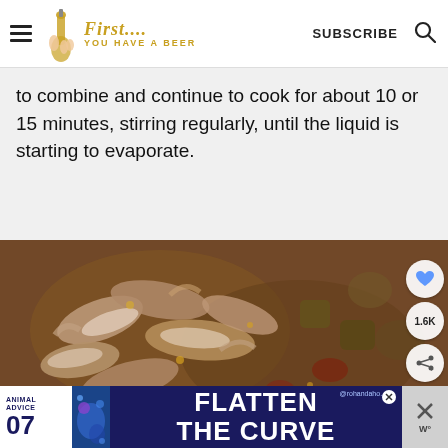First... You Have a Beer — SUBSCRIBE
to combine and continue to cook for about 10 or 15 minutes, stirring regularly, until the liquid is starting to evaporate.
[Figure (photo): Close-up photo of a cooked seafood dish with shrimp, vegetables and sauce in a pan. Social share overlay shows heart icon and 1.6K count.]
[Figure (infographic): Advertisement banner: Animal Advice 07, Flatten The Curve, with @rohandaho handle and close buttons.]